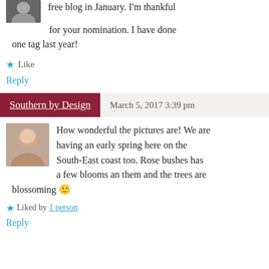free blog in January. I'm thankful for your nomination. I have done one tag last year!
★ Like
Reply
Southern by Design   March 5, 2017 3:39 pm
[Figure (photo): Portrait photo of a woman with blonde hair]
How wonderful the pictures are! We are having an early spring here on the South-East coast too. Rose bushes has a few blooms an them and the trees are blossoming 🙂
★ Liked by 1 person
Reply